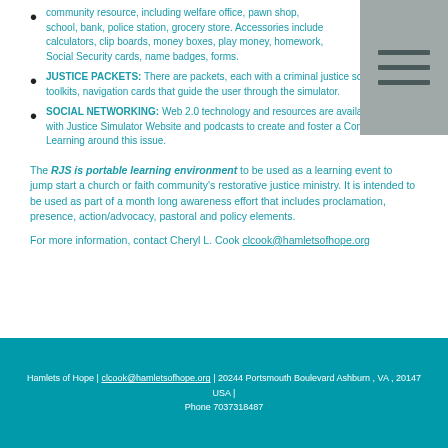RESOURCE PACKETS: Illustrations and directions for each community resource, including welfare office, pawn shop, school, bank, police station, grocery store. Accessories include calculators, clip boards, money boxes, play money, homework, Social Security cards, name badges, forms.
JUSTICE PACKETS: There are packets, each with a criminal justice scenario and toolkits, navigation cards that guide the user through the simulator.
SOCIAL NETWORKING: Web 2.0 technology and resources are available along with Justice Simulator Website and podcasts to create and foster a Community of Learning around this issue.
The RJS is portable learning environment to be used as a learning event to jump start a church or faith community's restorative justice ministry. It is intended to be used as part of a month long awareness effort that includes proclamation, presence, action/advocacy, pastoral and policy elements.
For more information, contact Cheryl L. Cook clcook@hamletsofhope.org
Hamlets of Hope | clcook@hamletsofhope.org | 20244 Portsmouth Boulevard Ashburn , VA , 20147 USA | Phone 7037318487